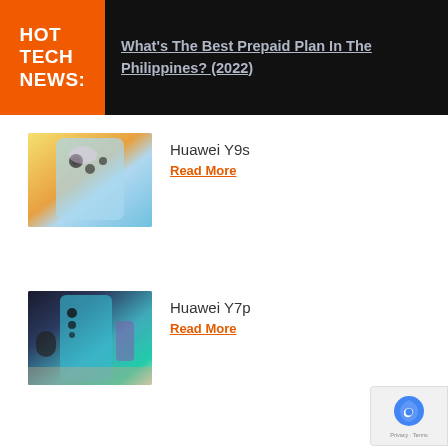HOT TECH NEWS:
What's The Best Prepaid Plan In The Philippines? (2022)
[Figure (photo): Huawei Y9s smartphone rear view showing triple camera setup, light blue color on orange background]
Huawei Y9s
Read More
[Figure (photo): Huawei Y7p smartphone in blue-green gradient color, standing on a table with a lens and figurine in background]
Huawei Y7p
Read More